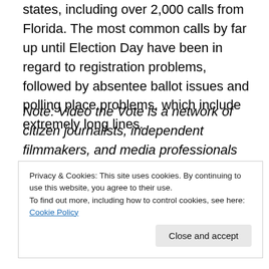states, including over 2,000 calls from Florida. The most common calls by far up until Election Day have been in regard to registration problems, followed by absentee ballot issues and polling place problems, which include extremely long lines.
Note: Video the Vote is a network of citizen journalists, independent filmmakers, and media professionals documenting voter problems at the polls. We will be posting links from them throughout the day.
Privacy & Cookies: This site uses cookies. By continuing to use this website, you agree to their use. To find out more, including how to control cookies, see here: Cookie Policy
Close and accept